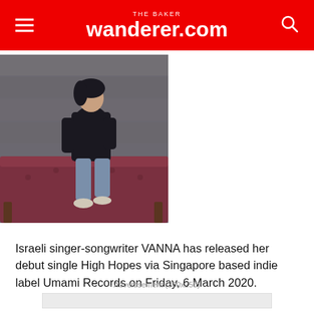THE BAKER wanderer.com
[Figure (photo): Young person with dark hair sitting on a red velvet couch in front of a concrete block wall, wearing a dark jacket and jeans]
Israeli singer-songwriter VANNA has released her debut single High Hopes via Singapore based indie label Umami Records on Friday, 6 March 2020.
- Advertisement (300x250) -